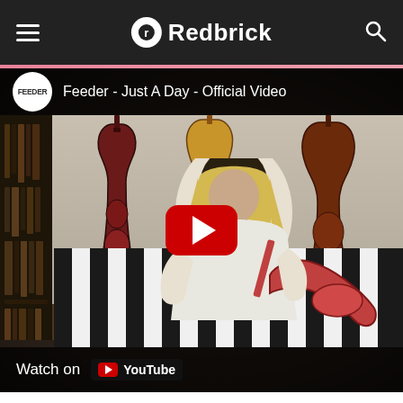Redbrick
[Figure (screenshot): YouTube embedded video thumbnail showing 'Feeder - Just A Day - Official Video' with a person playing guitar on a striped sofa, guitars hung on wall in background, red YouTube play button in center, 'Watch on YouTube' bar at bottom.]